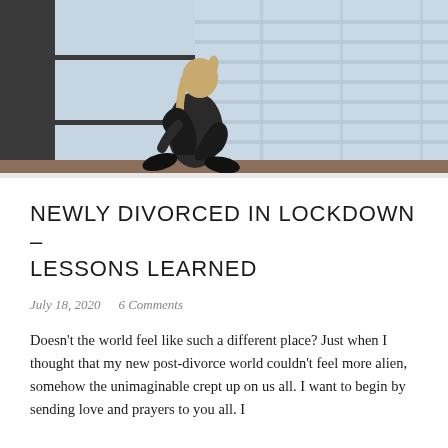[Figure (photo): A woman with blonde hair sitting on a window ledge hugging her knees, looking out at a city building with glass windows and blue-grey sky.]
NEWLY DIVORCED IN LOCKDOWN – LESSONS LEARNED
July 18, 2020   6 Comments
Doesn't the world feel like such a different place? Just when I thought that my new post-divorce world couldn't feel more alien, somehow the unimaginable crept up on us all. I want to begin by sending love and prayers to you all. I